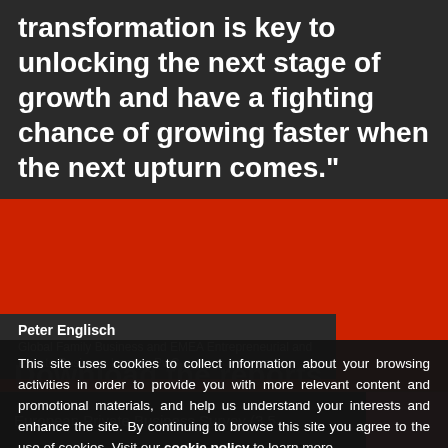transformation is key to unlocking the next stage of growth and have a fighting chance of growing faster when the next upturn comes."
Peter Englisch
Global Family Business and EMEA Entrepreneurial and Private Business Leader, PwC
This site uses cookies to collect information about your browsing activities in order to provide you with more relevant content and promotional materials, and help us understand your interests and enhance the site. By continuing to browse this site you agree to the use of cookies. Visit our cookie policy to learn more.
Download the reports
European Private Business Survey (3.5...